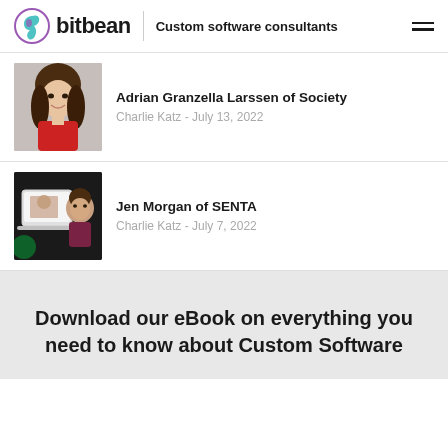bitbean | Custom software consultants
Adrian Granzella Larssen of Society
Charlie Katz - July 13, 2022
Jen Morgan of SENTA
Charlie Katz - July 7, 2022
Download our eBook on everything you need to know about Custom Software